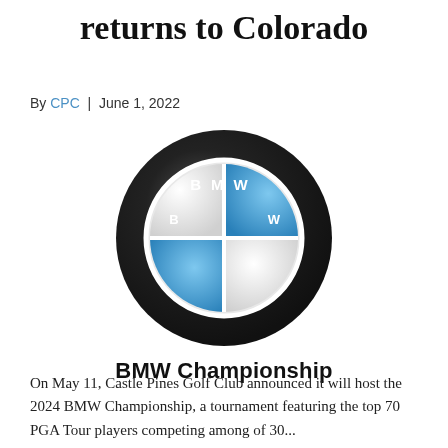returns to Colorado
By CPC | June 1, 2022
[Figure (logo): BMW logo — circular badge with black outer ring, white inner ring, and four-quadrant center with alternating blue and white quarters. Below the logo: 'BMW Championship' in bold sans-serif.]
On May 11, Castle Pines Golf Club announced it will host the 2024 BMW Championship, a tournament featuring the top 70 PGA Tour players competing among of 30...